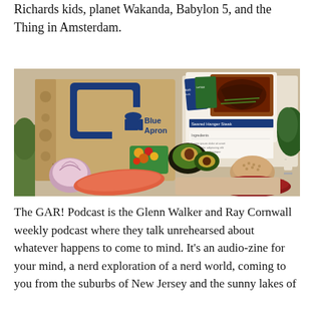Richards kids, planet Wakanda, Babylon 5, and the Thing in Amsterdam.
[Figure (photo): Blue Apron meal kit box with fresh ingredients including salmon, avocado, tomatoes, onion, lentils, and recipe cards spread out on a table.]
The GAR! Podcast is the Glenn Walker and Ray Cornwall weekly podcast where they talk unrehearsed about whatever happens to come to mind. It's an audio-zine for your mind, a nerd exploration of a nerd world, coming to you from the suburbs of New Jersey and the sunny lakes of